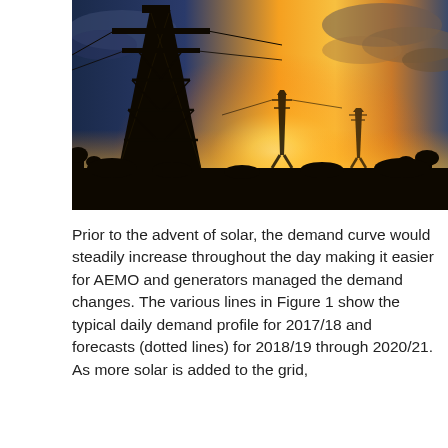[Figure (photo): Photograph of high-voltage electricity transmission towers silhouetted against a dramatic sunset sky with orange and yellow light and clouds.]
Prior to the advent of solar, the demand curve would steadily increase throughout the day making it easier for AEMO and generators managed the demand changes. The various lines in Figure 1 show the typical daily demand profile for 2017/18 and forecasts (dotted lines) for 2018/19 through 2020/21. As more solar is added to the grid,